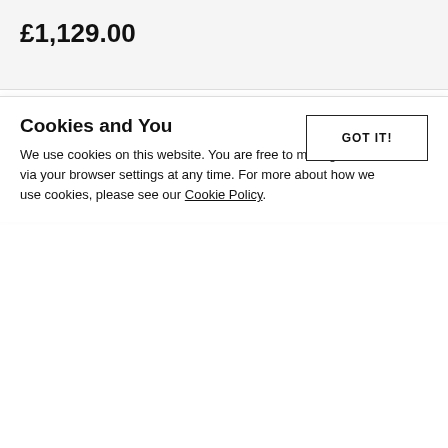£1,129.00
Be in the know
Don't miss out - sign up and keep up to date with new product launches, offers, competitions and articles…
Cookies and You
We use cookies on this website. You are free to manage these via your browser settings at any time. For more about how we use cookies, please see our Cookie Policy.
GOT IT!